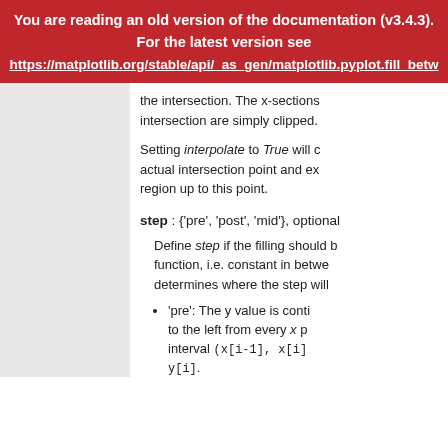You are reading an old version of the documentation (v3.4.3). For the latest version see https://matplotlib.org/stable/api/_as_gen/matplotlib.pyplot.fill_betw
the intersection. The x-sections outside the intersection are simply clipped.
Setting interpolate to True will d... actual intersection point and ex... region up to this point.
step : {'pre', 'post', 'mid'}, optional
Define step if the filling should b... function, i.e. constant in betwe... determines where the step will ...
'pre': The y value is conti... to the left from every x p... interval (x[i-1], x[i]... y[i].
'post': The y value is con...